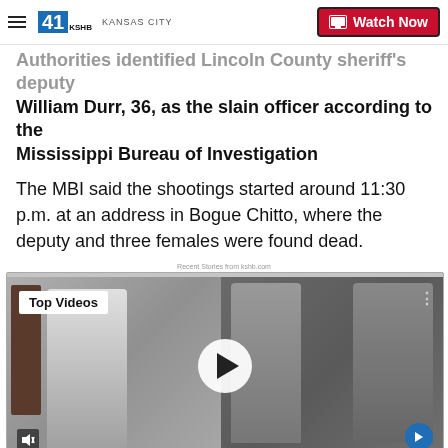41 KSHB KANSAS CITY | Watch Now
Authorities identified Lincoln County sheriff's deputy William Durr, 36, as the slain officer according to the Mississippi Bureau of Investigation
The MBI said the shootings started around 11:30 p.m. at an address in Bogue Chitto, where the deputy and three females were found dead.
Recent Stories from kshb.com
[Figure (screenshot): Video player thumbnail showing two people hugging in what appears to be a formal setting, with a play button overlay. Badge says 'Top Videos'.]